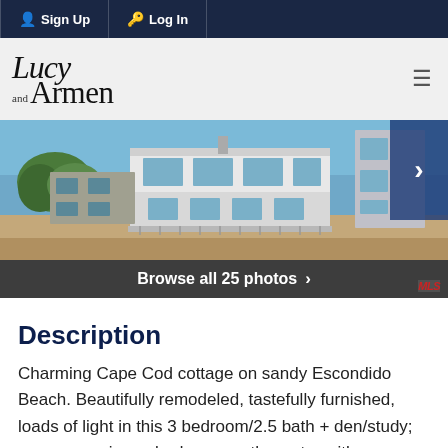Sign Up  Log In
[Figure (logo): Lucy and Armen real estate logo in script and serif typeface]
[Figure (photo): Beach house / Cape Cod cottage on Escondido Beach viewed from sandy beach, with next-photo arrow button overlay]
Browse all 25 photos ›
Description
Charming Cape Cod cottage on sandy Escondido Beach. Beautifully remodeled, tastefully furnished, loads of light in this 3 bedroom/2.5 bath + den/study; generous primary bedroom on the water with ocean